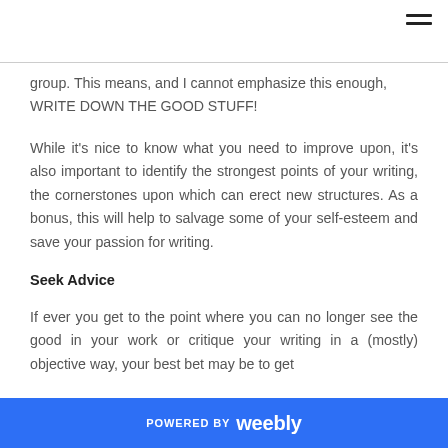group. This means, and I cannot emphasize this enough, WRITE DOWN THE GOOD STUFF!
While it's nice to know what you need to improve upon, it's also important to identify the strongest points of your writing, the cornerstones upon which can erect new structures. As a bonus, this will help to salvage some of your self-esteem and save your passion for writing.
Seek Advice
If ever you get to the point where you can no longer see the good in your work or critique your writing in a (mostly) objective way, your best bet may be to get
POWERED BY weebly